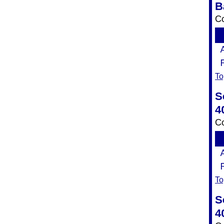Bainbridge: SAFE Mobility Levy
Completed Precincts: 23 of 23
|  | Vote Count | Percentage |
| --- | --- | --- |
| Approved | 7,278 | 45.9% |
| Rejected | 8,577 | 54.1% |
Top
South Kitsap School District No. 402 Proposition No. 1
Completed Precincts: 61 of 61
|  | Vote Count | Percentage |
| --- | --- | --- |
| Approved | 18,936 | 55.9% |
| Rejected | 14,960 | 44.1% |
Top
South Kitsap School District No. 402 Proposition No. 2
Completed Precincts: 61 of 61
|  | Vote Count | Percentage |
| --- | --- | --- |
| Yes | 19,304 | 57.0% |
| No | 14,533 | 43.0% |
Top